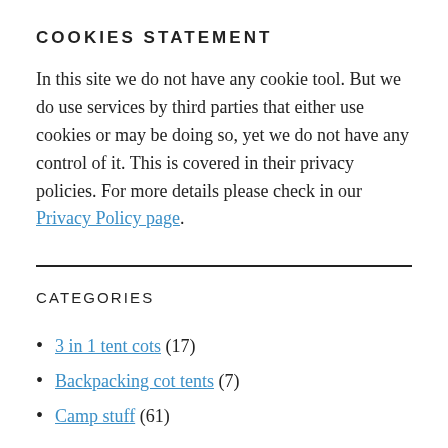COOKIES STATEMENT
In this site we do not have any cookie tool. But we do use services by third parties that either use cookies or may be doing so, yet we do not have any control of it. This is covered in their privacy policies. For more details please check in our Privacy Policy page.
CATEGORIES
3 in 1 tent cots (17)
Backpacking cot tents (7)
Camp stuff (61)